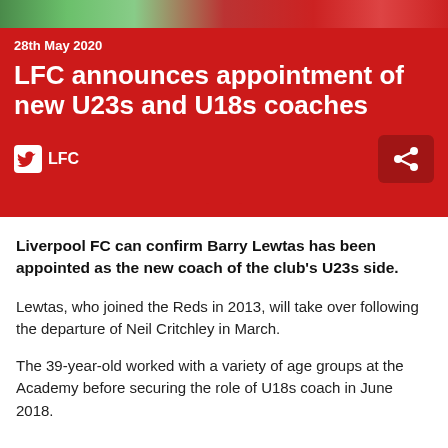[Figure (photo): Photo strip at top of page showing sports/football imagery with green and red tones]
28th May 2020
LFC announces appointment of new U23s and U18s coaches
LFC (Twitter/social link and share button)
Liverpool FC can confirm Barry Lewtas has been appointed as the new coach of the club's U23s side.
Lewtas, who joined the Reds in 2013, will take over following the departure of Neil Critchley in March.
The 39-year-old worked with a variety of age groups at the Academy before securing the role of U18s coach in June 2018.
COOKIES ON liverpoolfc.com
We use cookies and similar technologies to make this website...